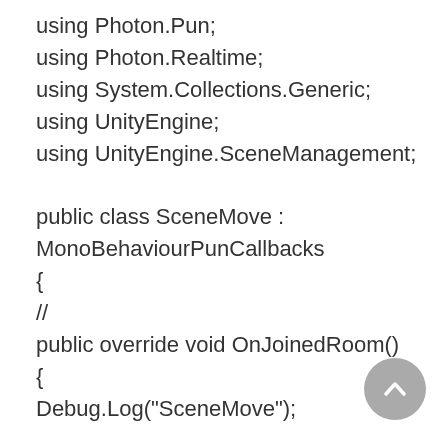using Photon.Pun;
using Photon.Realtime;
using System.Collections.Generic;
using UnityEngine;
using UnityEngine.SceneManagement;

public class SceneMove :
MonoBehaviourPunCallbacks
{
// 　　　　　　　　
public override void OnJoinedRoom()
{
Debug.Log("SceneMove");

if (PhotonNetwork.CurrentRoom.PlayerCount == 2)
{